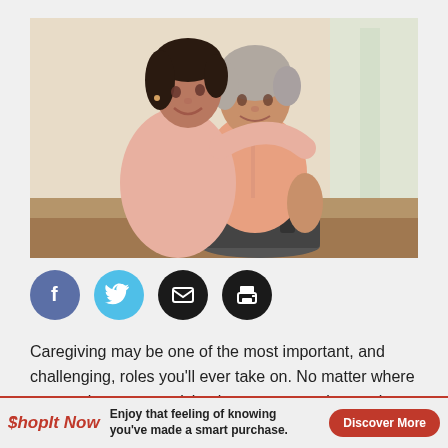[Figure (photo): Two women smiling together — a younger woman in pink and an older woman seated in a wheelchair, both in warm pink tones, indoor setting]
[Figure (infographic): Row of four social sharing icons: Facebook (blue circle with f), Twitter (cyan circle with bird), Email (black circle with envelope), Print (black circle with printer)]
Caregiving may be one of the most important, and challenging, roles you'll ever take on. No matter where you are in your caregiving journey — starting to plan; taking ca...om a d...
[Figure (infographic): ShopIt Now advertisement banner: 'Enjoy that feeling of knowing you've made a smart purchase.' with 'Discover More' red button]